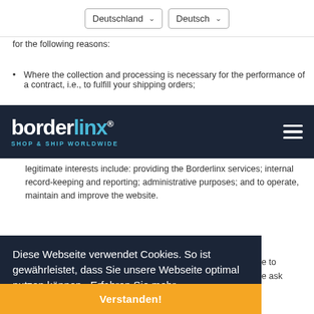Deutschland (dropdown) | Deutsch (dropdown)
for the following reasons:
With user consent, e.g., to receive marketing materials;
Where the collection and processing is necessary for the performance of a contract, i.e., to fulfill your shipping orders;
[Figure (screenshot): Borderlinx navigation bar logo with 'SHOP & SHIP WORLDWIDE' tagline and hamburger menu on dark navy background]
legitimate interests include: providing the Borderlinx services; internal record-keeping and reporting; administrative purposes; and to operate, maintain and improve the website.
Diese Webseite verwendet Cookies. So ist gewährleistet, dass Sie unsere Webseite optimal nutzen können.  Erfahren Sie mehr
e to e ask
Verstanden!
Telefonnummer